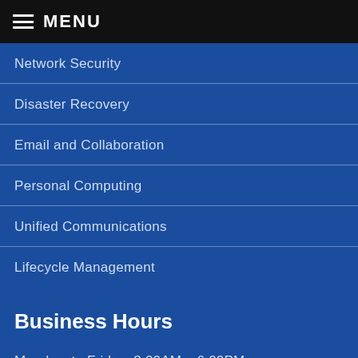MENU
Network Security
Disaster Recovery
Email and Collaboration
Personal Computing
Unified Communications
Lifecycle Management
Business Hours
Monday  to Friday  8:00AM – 6:00PM
A Step Above the Rest